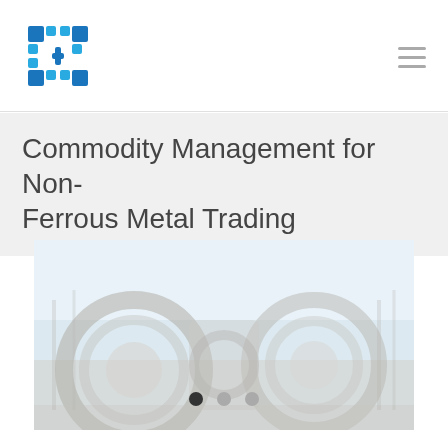Commodity Management for Non-Ferrous Metal Trading
[Figure (photo): Industrial photo of large metal coils or rolls in a warehouse/industrial setting, shown in muted/faded tones with light blue-gray sky background. Circular metal forms visible.]